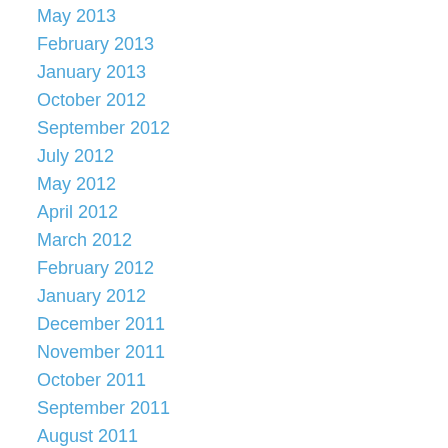May 2013
February 2013
January 2013
October 2012
September 2012
July 2012
May 2012
April 2012
March 2012
February 2012
January 2012
December 2011
November 2011
October 2011
September 2011
August 2011
June 2011
May 2011
April 2011
March 2011